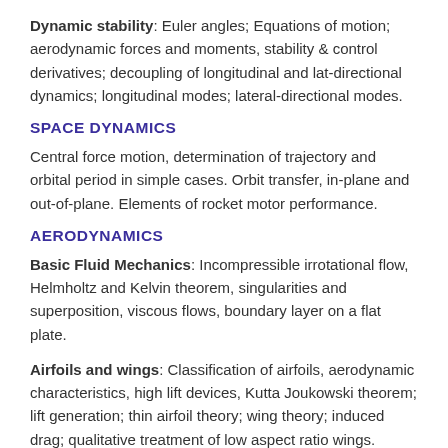Dynamic stability: Euler angles; Equations of motion; aerodynamic forces and moments, stability & control derivatives; decoupling of longitudinal and lat-directional dynamics; longitudinal modes; lateral-directional modes.
SPACE DYNAMICS
Central force motion, determination of trajectory and orbital period in simple cases. Orbit transfer, in-plane and out-of-plane. Elements of rocket motor performance.
AERODYNAMICS
Basic Fluid Mechanics: Incompressible irrotational flow, Helmholtz and Kelvin theorem, singularities and superposition, viscous flows, boundary layer on a flat plate.
Airfoils and wings: Classification of airfoils, aerodynamic characteristics, high lift devices, Kutta Joukowski theorem; lift generation; thin airfoil theory; wing theory; induced drag; qualitative treatment of low aspect ratio wings.